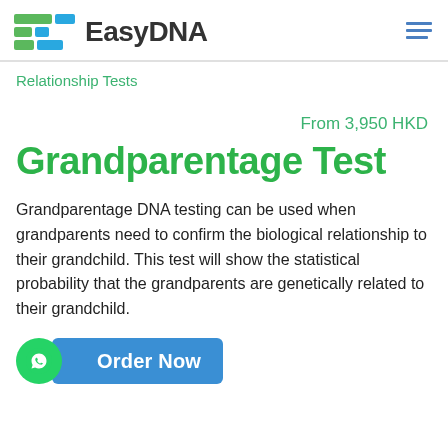[Figure (logo): EasyDNA logo with colored blocks and company name]
Relationship Tests
From 3,950 HKD
Grandparentage Test
Grandparentage DNA testing can be used when grandparents need to confirm the biological relationship to their grandchild. This test will show the statistical probability that the grandparents are genetically related to their grandchild.
Order Now